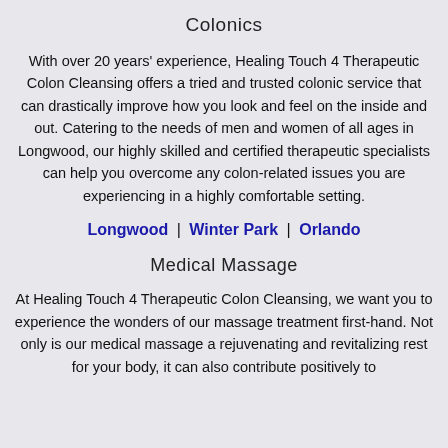Colonics
With over 20 years' experience, Healing Touch 4 Therapeutic Colon Cleansing offers a tried and trusted colonic service that can drastically improve how you look and feel on the inside and out. Catering to the needs of men and women of all ages in Longwood, our highly skilled and certified therapeutic specialists can help you overcome any colon-related issues you are experiencing in a highly comfortable setting.
Longwood | Winter Park | Orlando
Medical Massage
At Healing Touch 4 Therapeutic Colon Cleansing, we want you to experience the wonders of our massage treatment first-hand. Not only is our medical massage a rejuvenating and revitalizing rest for your body, it can also contribute positively to